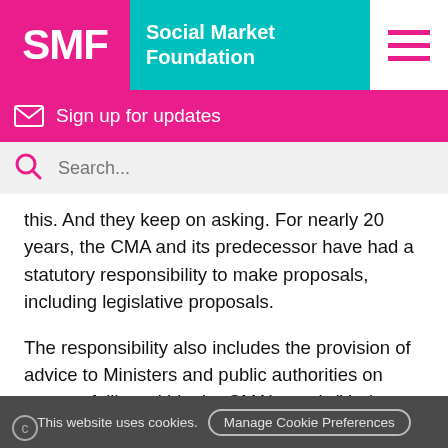SMF Social Market Foundation
Sign up for updates
Search...
this. And they keep on asking. For nearly 20 years, the CMA and its predecessor have had a statutory responsibility to make proposals, including legislative proposals.
The responsibility also includes the provision of advice to Ministers and public authorities on matters falling within the CMA's remit (Under section 7(1) of the Enterprise Act 2002, the CMA has responsibility
This website uses cookies. Manage Cookie Preferences